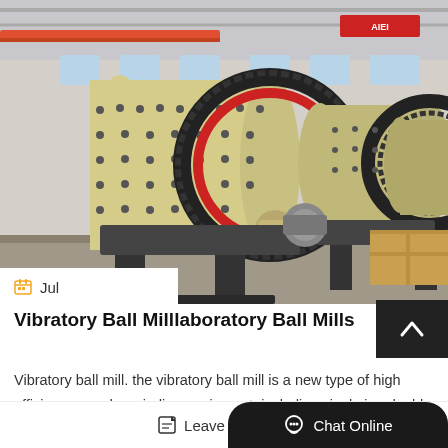[Figure (photo): Industrial factory interior showing large ball mill grinding machines with yellow cylindrical drums and large black gear rings on dark metal frames, multiple units lined up in a manufacturing facility with steel roof trusses visible above.]
Jul
Vibratory Ball Milllaboratory Ball Mills
Vibratory ball mill. the vibratory ball mill is a new type of high efficiency powder grinding equipment, including single jar, double jars and three jars models. the oper...
Leave Message
Chat Online